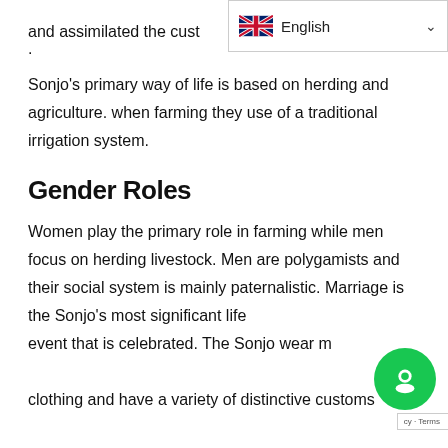and assimilated the cust[oms].
[Figure (screenshot): Language selector dropdown showing UK flag and 'English' with a chevron/dropdown arrow]
Sonjo's primary way of life is based on herding and agriculture. when farming they use of a traditional irrigation system.
Gender Roles
Women play the primary role in farming while men focus on herding livestock. Men are polygamists and their social system is mainly paternalistic. Marriage is the Sonjo's most significant life cycle event that is celebrated. The Sonjo wear m[odest] clothing and have a variety of distinctive customs